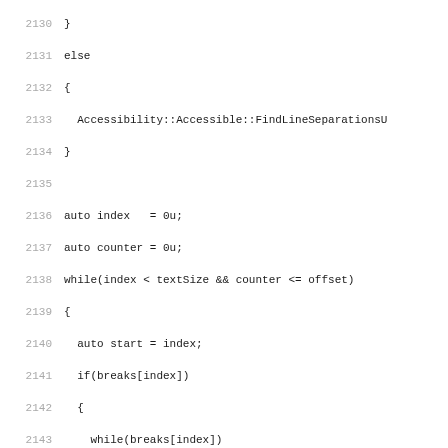[Figure (screenshot): Source code listing showing lines 2130-2162 of C++ code involving accessibility text boundary logic with line numbers on the left in gray and code in monospace font on white background]